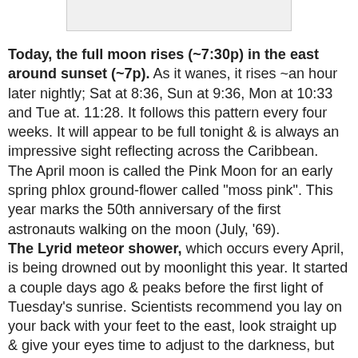[Figure (other): Partial image visible at top of page, appears to be a cropped screenshot or photo with a white/light gray box]
Today, the full moon rises (~7:30p) in the east around sunset (~7p). As it wanes, it rises ~an hour later nightly; Sat at 8:36, Sun at 9:36, Mon at 10:33 and Tue at. 11:28. It follows this pattern every four weeks. It will appear to be full tonight & is always an impressive sight reflecting across the Caribbean.
The April moon is called the Pink Moon for an early spring phlox ground-flower called "moss pink". This year marks the 50th anniversary of the first astronauts walking on the moon (July, '69).
The Lyrid meteor shower, which occurs every April, is being drowned out by moonlight this year. It started a couple days ago & peaks before the first light of Tuesday's sunrise. Scientists recommend you lay on your back with your feet to the east, look straight up & give your eyes time to adjust to the darkness, but to only expect about 10-20 meteors/hour. However, the Lyrids frequently leave glowing dust trails behind them as they streak through the Earth's atmosphere, which can be seen for several seconds.